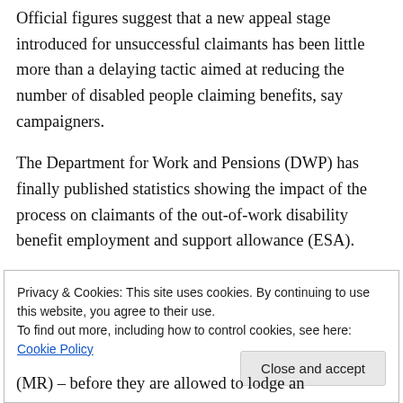Official figures suggest that a new appeal stage introduced for unsuccessful claimants has been little more than a delaying tactic aimed at reducing the number of disabled people claiming benefits, say campaigners.
The Department for Work and Pensions (DWP) has finally published statistics showing the impact of the process on claimants of the out-of-work disability benefit employment and support allowance (ESA).
Privacy & Cookies: This site uses cookies. By continuing to use this website, you agree to their use. To find out more, including how to control cookies, see here: Cookie Policy
(MR) – before they are allowed to lodge an